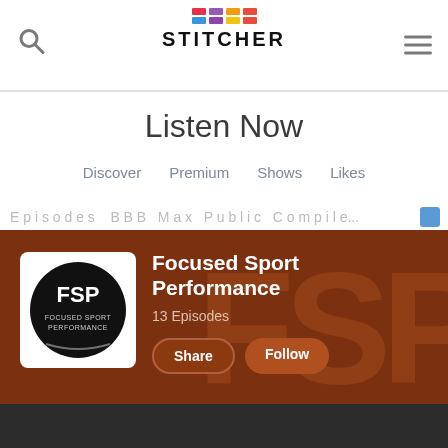[Figure (screenshot): Stitcher app header with search icon, Stitcher logo with colorful blocks, and hamburger menu icon]
Listen Now
Discover   Premium   Shows   Likes
[Figure (screenshot): Focused Sport Performance podcast banner on Stitcher. Brown background with FSP watermark. Shows FSP logo (black circle with FSP letters), title 'Focused Sport Performance', '13 Episodes', Share and Follow buttons.]